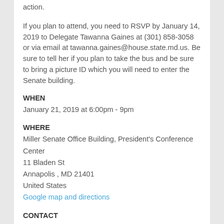action.
If you plan to attend, you need to RSVP by January 14, 2019 to Delegate Tawanna Gaines at (301) 858-3058 or via email at tawanna.gaines@house.state.md.us. Be sure to tell her if you plan to take the bus and be sure to bring a picture ID which you will need to enter the Senate building.
WHEN
January 21, 2019 at 6:00pm - 9pm
WHERE
Miller Senate Office Building, President's Conference Center
11 Bladen St
Annapolis , MD 21401
United States
Google map and directions
CONTACT
Delegate Tawanna Gaines ·